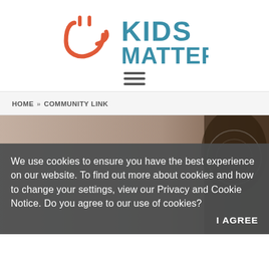[Figure (logo): Kids Matter logo with smiley face icon in red/orange and 'KIDS MATTER' text in teal/blue]
HOME » COMMUNITY LINK
[Figure (photo): Background photo of a child, with a dark semi-transparent cookie consent overlay box containing text and I AGREE button]
We use cookies to ensure you have the best experience on our website. To find out more about cookies and how to change your settings, view our Privacy and Cookie Notice. Do you agree to our use of cookies?
I AGREE